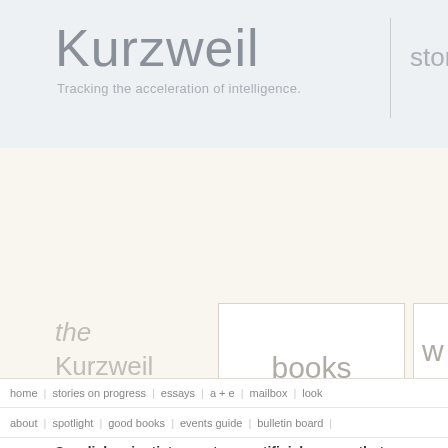Kurzweil
Tracking the acceleration of intelligence.
stor
the Kurzweil Library
books
by Ray Kurweil
w
b
home | stories on progress | essays | a + e | mailbox | look
about | spotlight | good books | events guide | bulletin board |
Swedish scientists create an artificial neuron that mimics ar
Could remotely stimulate neurons based on specific chemical signals receiv